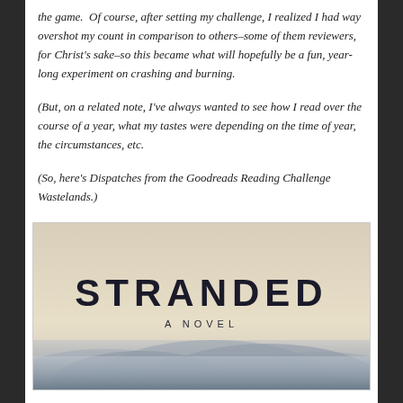the game. Of course, after setting my challenge, I realized I had way overshot my count in comparison to others–some of them reviewers, for Christ's sake–so this became what will hopefully be a fun, year-long experiment on crashing and burning.
(But, on a related note, I've always wanted to see how I read over the course of a year, what my tastes were depending on the time of year, the circumstances, etc.
(So, here's Dispatches from the Goodreads Reading Challenge Wastelands.)
[Figure (photo): Book cover of 'Stranded: A Novel' with large bold text 'STRANDED' and subtitle 'A NOVEL' on a pale beige background with misty landscape at the bottom.]